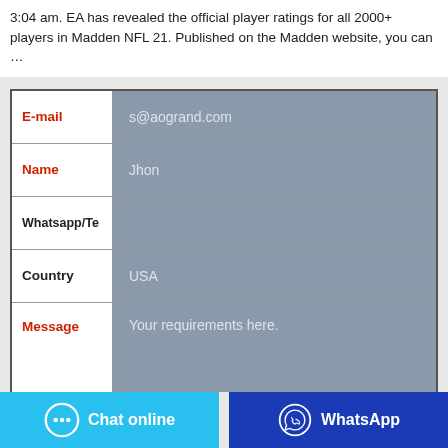3:04 am. EA has revealed the official player ratings for all 2000+ players in Madden NFL 21. Published on the Madden website, you can …
| Field | Value |
| --- | --- |
| E-mail | s@aogrand.com |
| Name | Jhon |
| Whatsapp/Te |  |
| Country | USA |
| Message | Your requirements here. |
Chat online
WhatsApp